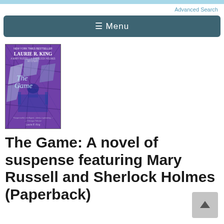Advanced Search
≡ Menu
[Figure (photo): Book cover of 'The Game' by Laurie R. King. Purple stained-glass style cover featuring a silhouette of the Taj Mahal. Text reads: NEW YORK TIMES BESTSELLER, LAURIE R. KING, The Game.]
The Game: A novel of suspense featuring Mary Russell and Sherlock Holmes (Paperback)